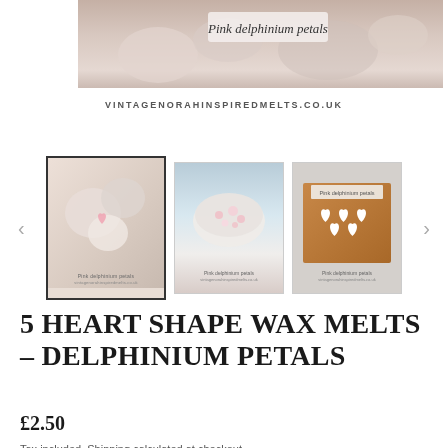[Figure (photo): Close-up photo of pink delphinium petal wax melts with text overlay 'Pink delphinium petals' in cursive]
VINTAGENORAHINSPIREDMELTS.CO.UK
[Figure (photo): Product image gallery with three thumbnail photos and navigation arrows. First thumbnail (active/selected with bold border) shows cream heart-shaped wax melts. Second shows a bowl with pink petal wax melts. Third shows a brown box with 5 white heart-shaped wax melts arranged in a pattern.]
5 HEART SHAPE WAX MELTS - DELPHINIUM PETALS
£2.50
Tax included. Shipping calculated at checkout.